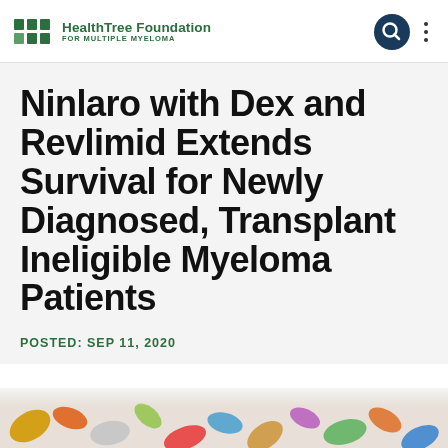HealthTree Foundation FOR MULTIPLE MYELOMA
Ninlaro with Dex and Revlimid Extends Survival for Newly Diagnosed, Transplant Ineligible Myeloma Patients
POSTED: SEP 11, 2020
[Figure (photo): Colorful pills and capsules scattered, partially visible at bottom of page]